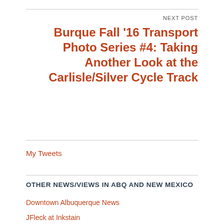NEXT POST
Burque Fall ’16 Transport Photo Series #4: Taking Another Look at the Carlisle/Silver Cycle Track
My Tweets
OTHER NEWS/VIEWS IN ABQ AND NEW MEXICO
Downtown Albuquerque News
JFleck at Inkstain